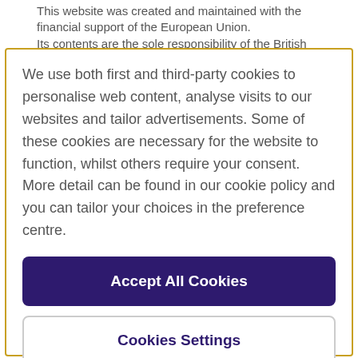This website was created and maintained with the financial support of the European Union. Its contents are the sole responsibility of the British Council and
We use both first and third-party cookies to personalise web content, analyse visits to our websites and tailor advertisements. Some of these cookies are necessary for the website to function, whilst others require your consent. More detail can be found in our cookie policy and you can tailor your choices in the preference centre.
Accept All Cookies
Cookies Settings